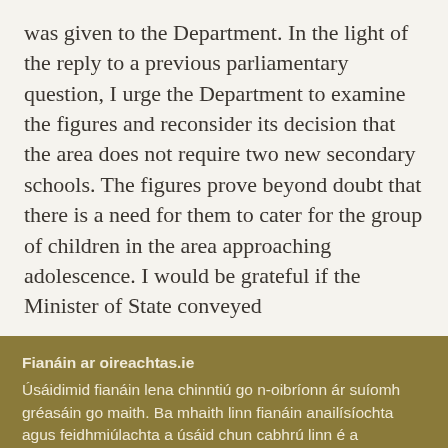was given to the Department. In the light of the reply to a previous parliamentary question, I urge the Department to examine the figures and reconsider its decision that the area does not require two new secondary schools. The figures prove beyond doubt that there is a need for them to cater for the group of children in the area approaching adolescence. I would be grateful if the Minister of State conveyed
Fianáin ar oireachtas.ie
Úsáidimid fianáin lena chinntiú go n-oibríonn ár suíomh gréasáin go maith. Ba mhaith linn fianáin anailísíochta agus feidhmiúlachta a úsáid chun cabhrú linn é a fheabhsú ach ní mór dúinn cead a fháil uait sin a dhéanamh. Mura bhfuil tú sásta cead a thabhairt, ní úsáidfear ach fianáin riachtanacha. Léigh tuileadh faoinár bhfianáin
Socraigh sainroghanna fianán
Glac leis na fianáin go léir